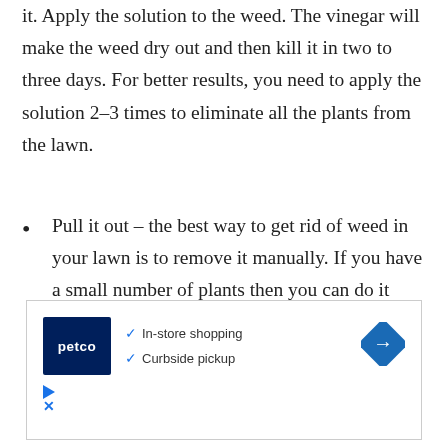it. Apply the solution to the weed. The vinegar will make the weed dry out and then kill it in two to three days. For better results, you need to apply the solution 2-3 times to eliminate all the plants from the lawn.
Pull it out – the best way to get rid of weed in your lawn is to remove it manually. If you have a small number of plants then you can do it manually but it can take a lot of effort to remove weeds manually if you have a large infestation in your lawn. If you are doing it
[Figure (other): Petco advertisement banner showing Petco logo, checkmarks for In-store shopping and Curbside pickup, and a blue diamond-shaped direction arrow icon]